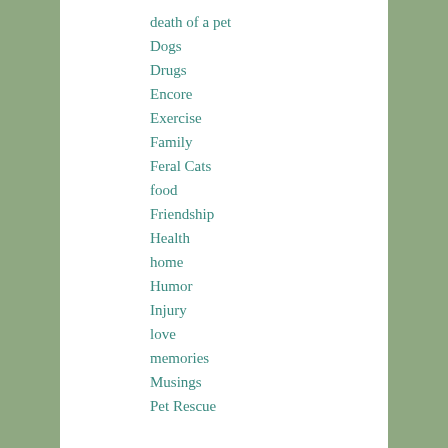death of a pet
Dogs
Drugs
Encore
Exercise
Family
Feral Cats
food
Friendship
Health
home
Humor
Injury
love
memories
Musings
Pet Rescue